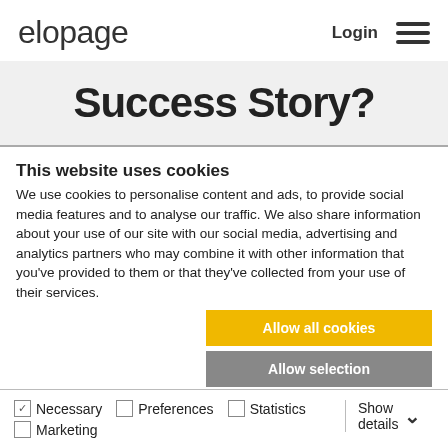elopage  Login
Success Story?
This website uses cookies
We use cookies to personalise content and ads, to provide social media features and to analyse our traffic. We also share information about your use of our site with our social media, advertising and analytics partners who may combine it with other information that you've provided to them or that they've collected from your use of their services.
Allow all cookies
Allow selection
Use necessary cookies only
Necessary  Preferences  Statistics  Marketing  Show details